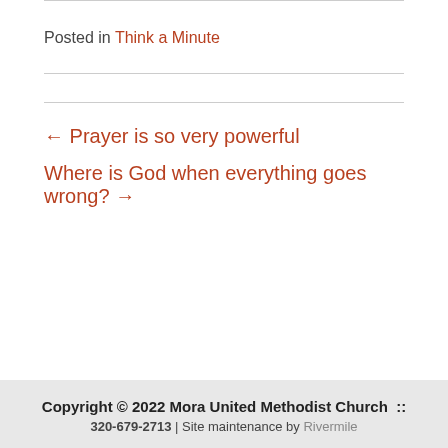Posted in Think a Minute
← Prayer is so very powerful
Where is God when everything goes wrong? →
Copyright © 2022 Mora United Methodist Church :: 320-679-2713 | Site maintenance by Rivermile